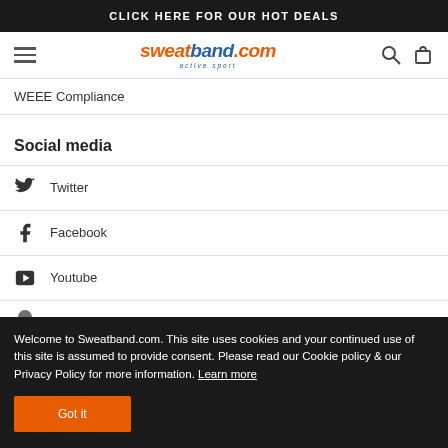CLICK HERE FOR OUR HOT DEALS
[Figure (logo): Sweatband.com active sport logo with hamburger menu, search and cart icons]
WEEE Compliance
Social media
Twitter
Facebook
Youtube
Welcome to Sweatband.com. This site uses cookies and your continued use of this site is assumed to provide consent. Please read our Cookie policy & our Privacy Policy for more information. Learn more
Got it